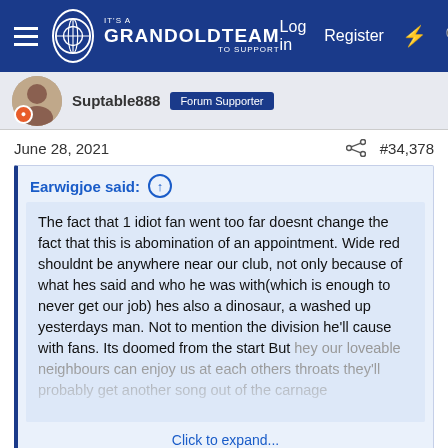IT'S A GRANDOLDTEAM TO SUPPORT — Log in  Register
Suptable888  Forum Supporter
June 28, 2021  #34,378
Earwigjoe said: ↑

The fact that 1 idiot fan went too far doesnt change the fact that this is abomination of an appointment. Wide red shouldnt be anywhere near our club, not only because of what hes said and who he was with(which is enough to never get our job) hes also a dinosaur, a washed up yesterdays man. Not to mention the division he'll cause with fans. Its doomed from the start But hey our loveable neighbours can enjoy us at each others throats they'll probably get another song out of the carnage

Click to expand...
Dude. Stop and look at what you are writing.

Do you know how batshit raging madman you are coming across? Many of you in fact.

It's a bit like ATS refusing to appoint a former Kwikfit centre